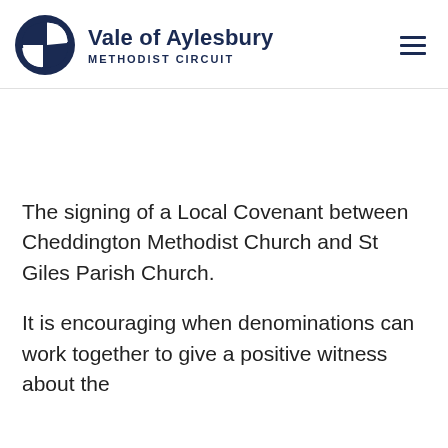Vale of Aylesbury Methodist Circuit
The signing of a Local Covenant between Cheddington Methodist Church and St Giles Parish Church.
It is encouraging when denominations can work together to give a positive witness about the